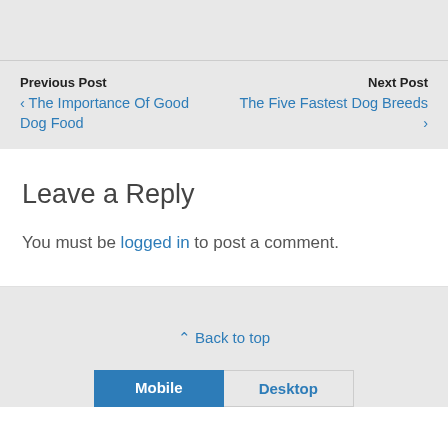Previous Post
‹ The Importance Of Good Dog Food
Next Post
The Five Fastest Dog Breeds ›
Leave a Reply
You must be logged in to post a comment.
⌃ Back to top
Mobile   Desktop